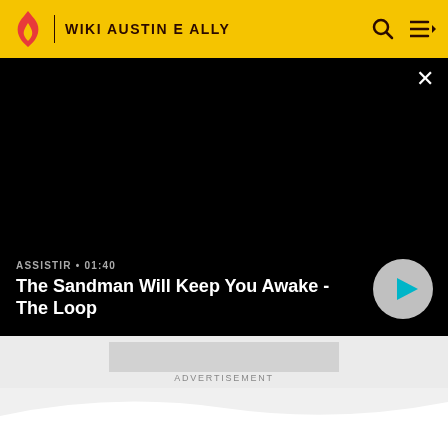WIKI AUSTIN E ALLY
[Figure (screenshot): Video player panel with black background showing 'ASSISTIR • 01:40' and title 'The Sandman Will Keep You Awake - The Loop' with a play button circle]
ADVERTISEMENT
MAIS INFORMAÇÕES